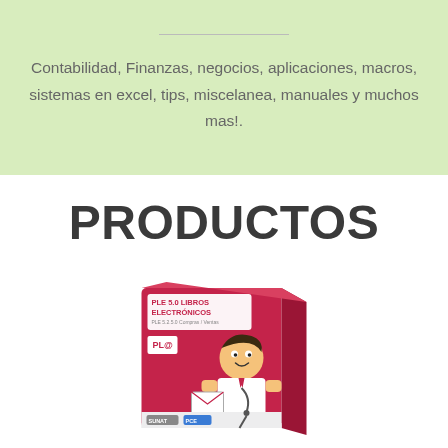Contabilidad, Finanzas, negocios, aplicaciones, macros, sistemas en excel, tips, miscelanea, manuales y muchos mas!.
PRODUCTOS
[Figure (illustration): Product box image for 'PLE 5.0 LIBROS ELECTRONICOS' software, shown as a 3D pink/magenta box with a cartoon character, PLE logo, and branding logos at the bottom.]